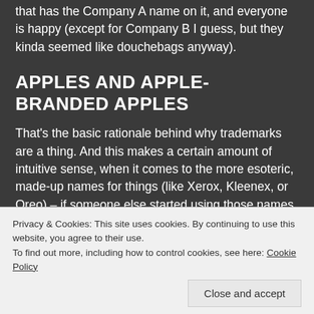that has the Company A name on it, and everyone is happy (except for Company B I guess, but they kinda seemed like douchebags anyway).
APPLES AND APPLE-BRANDED APPLES
That's the basic rationale behind why trademarks are a thing. And this makes a certain amount of intuitive sense, when it comes to the more esoteric, made-up names for things (like Xerox, Kleenex, or Oreo) – if someone else started using those names on their own products, it would be pretty obvious what they were trying to accomplish, and it makes sense that there should be a way to prevent people from using those labels to market
Privacy & Cookies: This site uses cookies. By continuing to use this website, you agree to their use.
To find out more, including how to control cookies, see here: Cookie Policy
words like Apple, Candy, or Glass. Well, it's important to